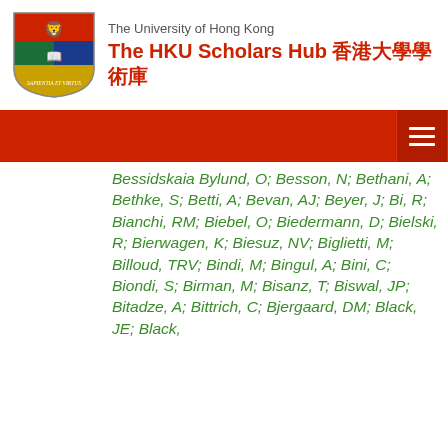The University of Hong Kong — The HKU Scholars Hub 香港大學學術庫
Bessidskaia Bylund, O; Besson, N; Bethani, A; Bethke, S; Betti, A; Bevan, AJ; Beyer, J; Bi, R; Bianchi, RM; Biebel, O; Biedermann, D; Bielski, R; Bierwagen, K; Biesuz, NV; Biglietti, M; Billoud, TRV; Bindi, M; Bingul, A; Bini, C; Biondi, S; Birman, M; Bisanz, T; Biswal, JP; Bitadze, A; Bittrich, C; Bjergaard, DM; Black, JE; Black,